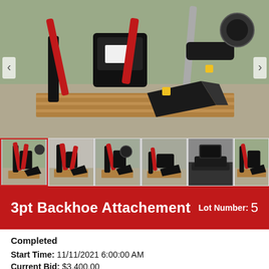[Figure (photo): Main large photo of a 3pt Backhoe Attachment — black and red hydraulic backhoe attachment sitting on wooden pallets on gravel ground, with navigation arrows on left and right sides.]
[Figure (photo): Row of 6 thumbnail photos of the 3pt Backhoe Attachment from various angles. First thumbnail is selected with a red border.]
3pt Backhoe Attachement   Lot Number: 5
Completed
Start Time: 11/11/2021 6:00:00 AM
Current Bid: $3,400.00